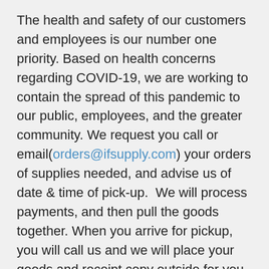The health and safety of our customers and employees is our number one priority. Based on health concerns regarding COVID-19, we are working to contain the spread of this pandemic to our public, employees, and the greater community. We request you call or email(orders@ifsupply.com) your orders of supplies needed, and advise us of date & time of pick-up.  We will process payments, and then pull the goods together. When you arrive for pickup, you will call us and we will place your goods and receipt copy outside for you to load.  Given these extreme circumstances, please consider placing your orders the day prior to pick up.
If you must enter our facility we are currently limiting our service area to one customer at a time.  Our service area is clearly defined and we ask you to remain there while we